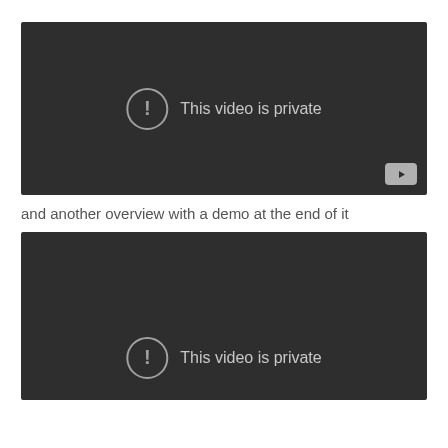[Figure (screenshot): YouTube video embed showing 'This video is private' message with exclamation icon and YouTube logo in bottom right corner, dark background]
and another overview with a demo at the end of it
[Figure (screenshot): Second YouTube video embed showing 'This video is private' message with exclamation icon, dark background, partially visible]